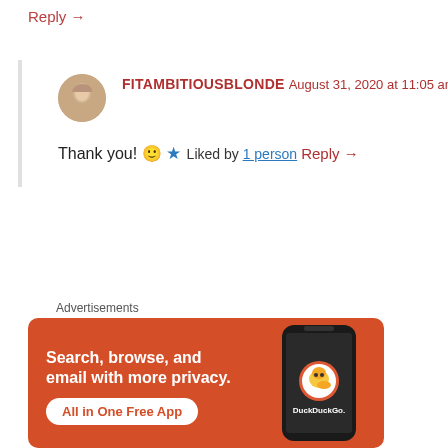Reply →
FITAMBITIOUSBLONDE
August 31, 2020 at 11:05 am
Thank you! 🙂
★ Liked by 1 person
Reply →
Advertisements
[Figure (screenshot): DuckDuckGo advertisement banner with orange background. Text reads: 'Search, browse, and email with more privacy. All in One Free App'. Shows a phone with DuckDuckGo logo.]